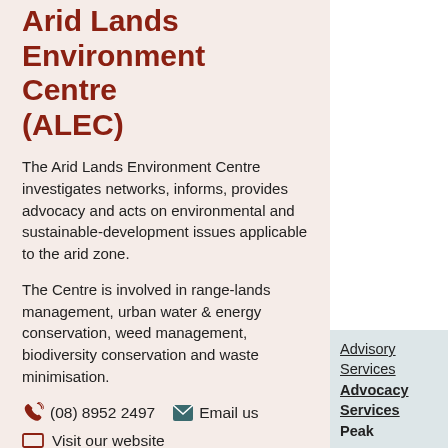Arid Lands Environment Centre (ALEC)
The Arid Lands Environment Centre investigates networks, informs, provides advocacy and acts on environmental and sustainable-development issues applicable to the arid zone.
The Centre is involved in range-lands management, urban water & energy conservation, weed management, biodiversity conservation and waste minimisation.
(08) 8952 2497   Email us
Visit our website
Read more
Advisory Services
Advocacy Services
Peak